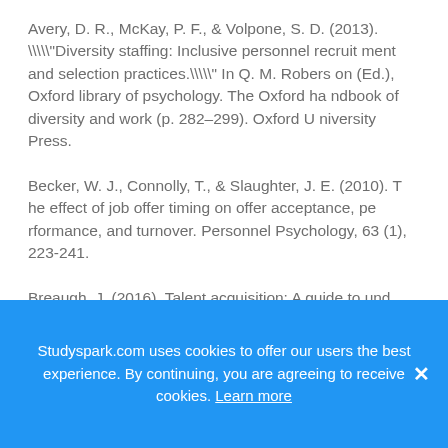Avery, D. R., McKay, P. F., & Volpone, S. D. (2013). \\\"Diversity staffing: Inclusive personnel recruitment and selection practices.\\\" In Q. M. Robertson (Ed.), Oxford library of psychology. The Oxford handbook of diversity and work (p. 282–299). Oxford University Press.
Becker, W. J., Connolly, T., & Slaughter, J. E. (2010). The effect of job offer timing on offer acceptance, performance, and turnover. Personnel Psychology, 63 (1), 223-241.
Breaugh, J. (2016). Talent acquisition: A guide to understanding and managing the recruitment process. Society of Human Resource Management.
Studyspark.com uses cookies to offer our users the best experience. By continuing, you are agreeing to receive cookies. Learn more